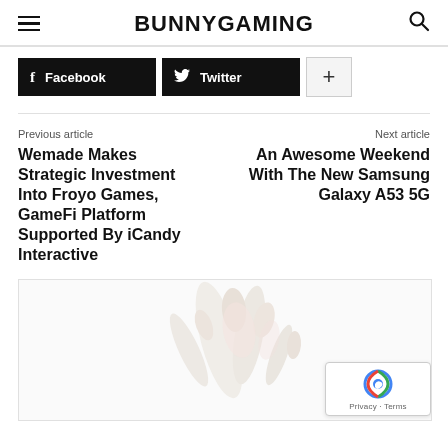BUNNYGAMING
Facebook  Twitter  +
Previous article
Wemade Makes Strategic Investment Into Froyo Games, GameFi Platform Supported By iCandy Interactive
Next article
An Awesome Weekend With The New Samsung Galaxy A53 5G
[Figure (photo): Partially visible decorative photo with floral/plant elements on a light background]